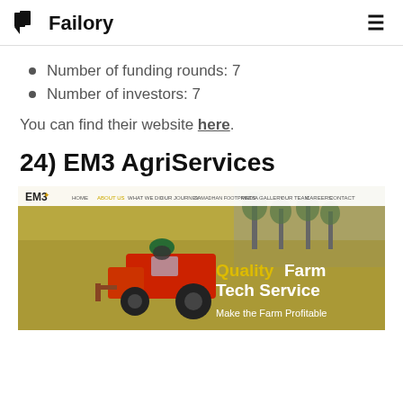Failory
Number of funding rounds: 7
Number of investors: 7
You can find their website here.
24) EM3 AgriServices
[Figure (screenshot): EM3 AgriServices website screenshot showing navigation bar with links (HOME, ABOUT US, WHAT WE DO, OUR JOURNEY, SAMADHAN FOOTPRINTS, MEDIA, GALLERY, OUR TEAM, CAREERS, CONTACT) and a hero image of a farmer on a tractor in a field with text 'Quality Farm Tech Services' and 'Make the Farm Profitable']